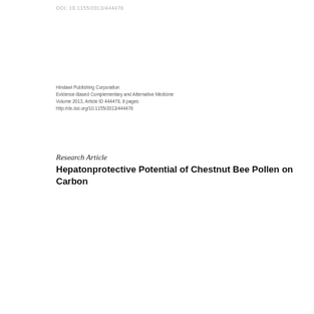DOI: 10.1155/2013/444478
Hindawi Publishing Corporation
Evidence-Based Complementary and Alternative Medicine
Volume 2013, Article ID 444478, 8 pages
http://dx.doi.org/10.1155/2013/444478
Research Article
Hepatonprotective Potential of Chestnut Bee Pollen on Carbon